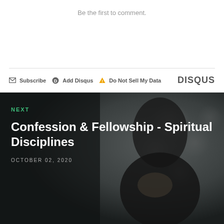Be the first to comment.
Subscribe  Add Disqus  Do Not Sell My Data  DISQUS
[Figure (photo): Dark background photo of a person with hands clasped in prayer, overlaid with next article navigation block]
NEXT
Confession & Fellowship - Spiritual Disciplines
OCTOBER 02, 2020